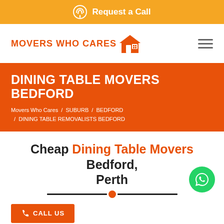Request a Call
[Figure (logo): Movers Who Cares logo with house icon in orange]
DINING TABLE MOVERS BEDFORD
Movers Who Cares / SUBURB / BEDFORD / DINING TABLE REMOVALISTS BEDFORD
Cheap Dining Table Movers Bedford, Perth